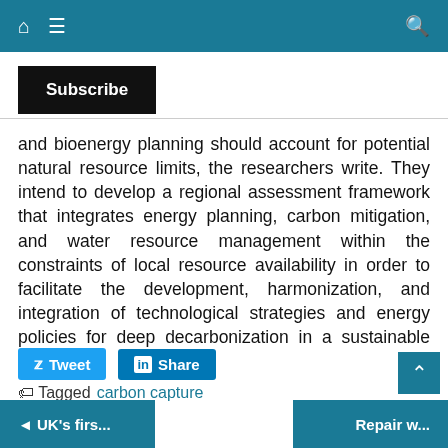[Figure (screenshot): Top navigation bar with teal background, home icon, hamburger menu icon on the left, and search icon on the right]
[Figure (screenshot): Subscribe button with black background and white bold text]
and bioenergy planning should account for potential natural resource limits, the researchers write. They intend to develop a regional assessment framework that integrates energy planning, carbon mitigation, and water resource management within the constraints of local resource availability in order to facilitate the development, harmonization, and integration of technological strategies and energy policies for deep decarbonization in a sustainable manner.
[Figure (screenshot): Social sharing buttons: Tweet (blue Twitter button) and Share (blue LinkedIn button)]
Tagged carbon capture
[Figure (screenshot): Bottom navigation with previous article '◄ UK's firs...' and next article 'Repair w...' teal buttons, and scroll-to-top button]